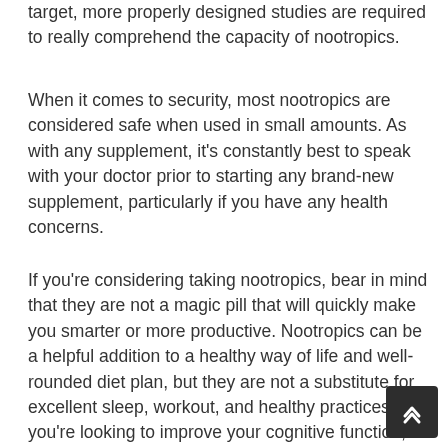target, more properly designed studies are required to really comprehend the capacity of nootropics.
When it comes to security, most nootropics are considered safe when used in small amounts. As with any supplement, it's constantly best to speak with your doctor prior to starting any brand-new supplement, particularly if you have any health concerns.
If you're considering taking nootropics, bear in mind that they are not a magic pill that will quickly make you smarter or more productive. Nootropics can be a helpful addition to a healthy way of life and well-rounded diet plan, but they are not a substitute for excellent sleep, workout, and healthy practices. If you're looking to improve your cognitive function, start by making sure you're doing all the essentials. Nootropics might provide you an additional edge, however they won't work miracles.